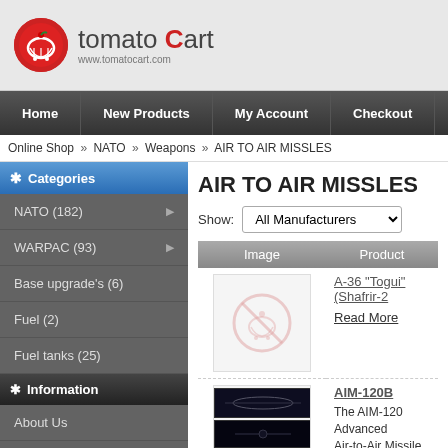[Figure (logo): Tomato Cart logo with red tomato icon and text 'tomato Cart' with URL www.tomatocart.com]
Home | New Products | My Account | Checkout
Online Shop » NATO » Weapons » AIR TO AIR MISSLES
Categories
NATO (182)
WARPAC (93)
Base upgrade's (6)
Fuel (2)
Fuel tanks (25)
Information
About Us
Shipping & Returns
Privacy Notice
AIR TO AIR MISSLES
Show: All Manufacturers
| Image | Product |
| --- | --- |
| [no image] | A-36 "Togui" (Shafrir-2
Read More |
| [AIM image] | AIM-120B
The AIM-120 Advanced Air-to-Air Missile, or AM... |